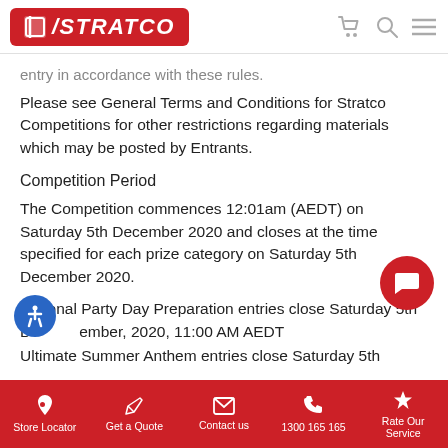STRATCO
entry in accordance with these rules.
Please see General Terms and Conditions for Stratco Competitions for other restrictions regarding materials which may be posted by Entrants.
Competition Period
The Competition commences 12:01am (AEDT) on Saturday 5th December 2020 and closes at the time specified for each prize category on Saturday 5th December 2020.
National Party Day Preparation entries close Saturday 5th December, 2020, 11:00 AM AEDT
Ultimate Summer Anthem entries close Saturday 5th
Store Locator  Get a Quote  Contact us  1300 165 165  Rate Our Service